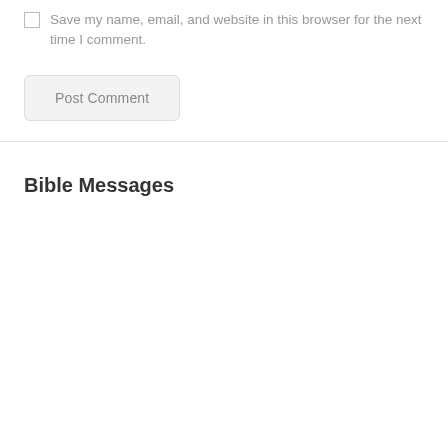Save my name, email, and website in this browser for the next time I comment.
Post Comment
Bible Messages